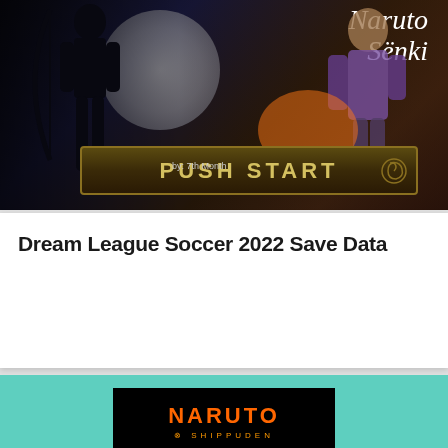[Figure (illustration): Naruto Senki game splash screen with dark background, moon, ninja silhouette, character artwork, and 'PUSH START' button bar. Text reads 'by: 7th Month'. Script-style title 'Naruto Sënki' in top right.]
Dream League Soccer 2022 Save Data
[Figure (logo): Naruto Shippuden Senki logo on black background with orange 'NARUTO' text, 'SHIPPUDEN' subtitle, and large yellow/orange 'SENKI' stylized text with decorative underline, on teal/mint green card background.]